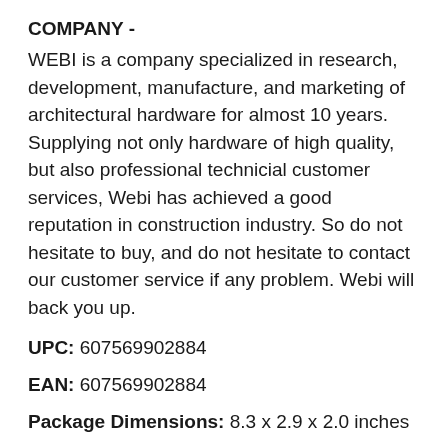COMPANY -
WEBI is a company specialized in research, development, manufacture, and marketing of architectural hardware for almost 10 years. Supplying not only hardware of high quality, but also professional technicial customer services, Webi has achieved a good reputation in construction industry. So do not hesitate to buy, and do not hesitate to contact our customer service if any problem. Webi will back you up.
UPC: 607569902884
EAN: 607569902884
Package Dimensions: 8.3 x 2.9 x 2.0 inches